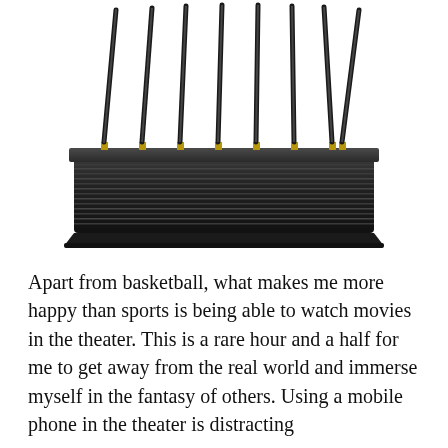[Figure (photo): A black multi-antenna signal jammer device with 8 antennas pointing upward from a rectangular black brushed-metal base unit with horizontal ridged lines on its sides.]
Apart from basketball, what makes me more happy than sports is being able to watch movies in the theater. This is a rare hour and a half for me to get away from the real world and immerse myself in the fantasy of others. Using a mobile phone in the theater is distracting